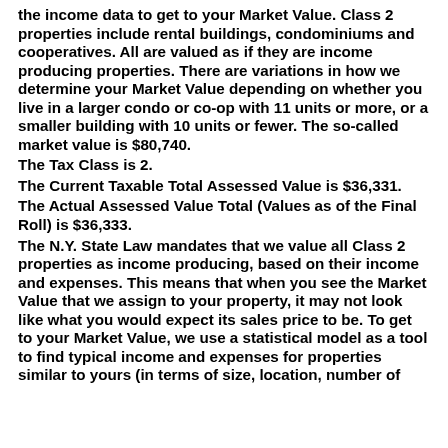the income data to get to your Market Value. Class 2 properties include rental buildings, condominiums and cooperatives. All are valued as if they are income producing properties. There are variations in how we determine your Market Value depending on whether you live in a larger condo or co-op with 11 units or more, or a smaller building with 10 units or fewer. The so-called market value is $80,740.
The Tax Class is 2.
The Current Taxable Total Assessed Value is $36,331.
The Actual Assessed Value Total (Values as of the Final Roll) is $36,333.
The N.Y. State Law mandates that we value all Class 2 properties as income producing, based on their income and expenses. This means that when you see the Market Value that we assign to your property, it may not look like what you would expect its sales price to be. To get to your Market Value, we use a statistical model as a tool to find typical income and expenses for properties similar to yours (in terms of size, location, number of